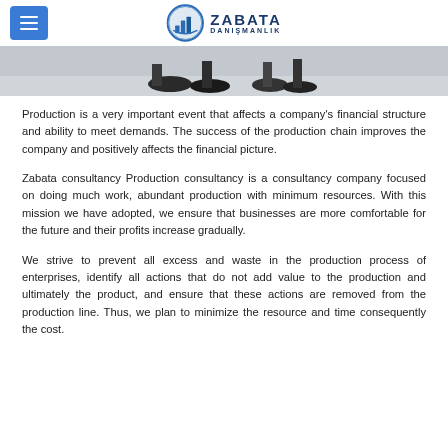Zabata Danışmanlık
[Figure (photo): Bottom portion of a banner/hero image showing feet/shoes of people walking on a light floor]
Production is a very important event that affects a company's financial structure and ability to meet demands. The success of the production chain improves the company and positively affects the financial picture.
Zabata consultancy Production consultancy is a consultancy company focused on doing much work, abundant production with minimum resources. With this mission we have adopted, we ensure that businesses are more comfortable for the future and their profits increase gradually.
We strive to prevent all excess and waste in the production process of enterprises, identify all actions that do not add value to the production and ultimately the product, and ensure that these actions are removed from the production line. Thus, we plan to minimize the resource and time consequently the cost.